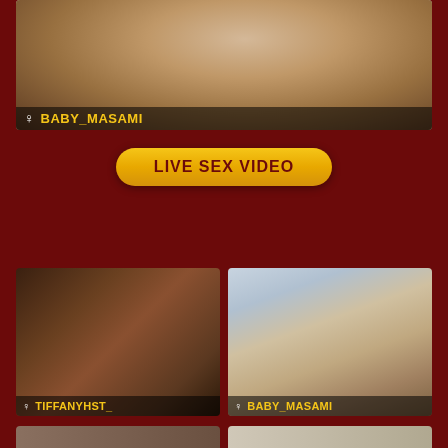[Figure (photo): Close-up photo of woman with wavy brown hair, username BABY_MASAMI]
BABY_MASAMI
LIVE SEX VIDEO
[Figure (photo): Photo of woman posing, username TIFFANYHST_]
TIFFANYHST_
[Figure (photo): Photo of woman with dark hair, username BABY_MASAMI]
BABY_MASAMI